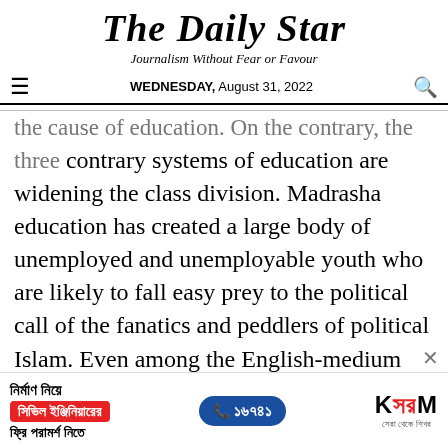The Daily Star
Journalism Without Fear or Favour
WEDNESDAY, August 31, 2022
the cause of education. On the contrary, the three contrary systems of education are widening the class division. Madrasha education has created a large body of unemployed and unemployable youth who are likely to fall easy prey to the political call of the fanatics and peddlers of political Islam. Even among the English-medium students there are some who, disillusioned with capitalism and unable to find a leftist outlet, tend to join the so-called Islamic terrorist outfit.
[Figure (infographic): Advertisement banner for KSRM: 'নির্মাণ নিয়ে সিভিল ইঞ্জিনিয়ারের ফ্রি পরামর্শ নিতে' with phone number ১৬৭৪১ and KSRM logo]